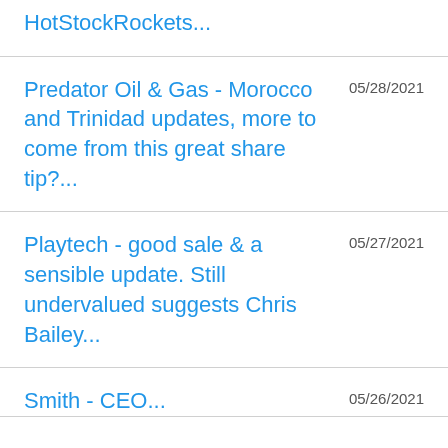HotStockRockets...
Predator Oil & Gas - Morocco and Trinidad updates, more to come from this great share tip?...
Playtech - good sale & a sensible update. Still undervalued suggests Chris Bailey...
Smith - CEO...